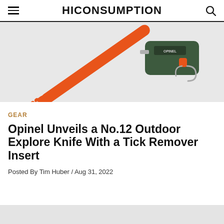HICONSUMPTION
[Figure (photo): Orange and green Opinel No.12 Outdoor Explore knife with tick remover insert on a light gray background]
GEAR
Opinel Unveils a No.12 Outdoor Explore Knife With a Tick Remover Insert
Posted By Tim Huber / Aug 31, 2022